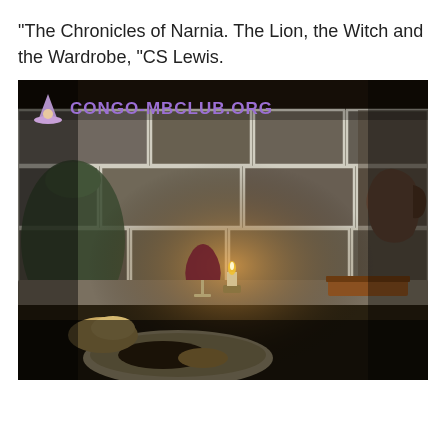"The Chronicles of Narnia. The Lion, the Witch and the Wardrobe, "CS Lewis.
[Figure (photo): A dimly lit medieval stone wall scene with mortar joints between large stone blocks. On a stone table/ledge: a lit candle in a holder, a glass of red wine, a book, a ceramic pitcher on the right, a large clay vessel on the left, a decorative plate with food and bread in the foreground. Watermark overlay reads CONGO-MBCLUB.ORG with a wizard hat icon.]